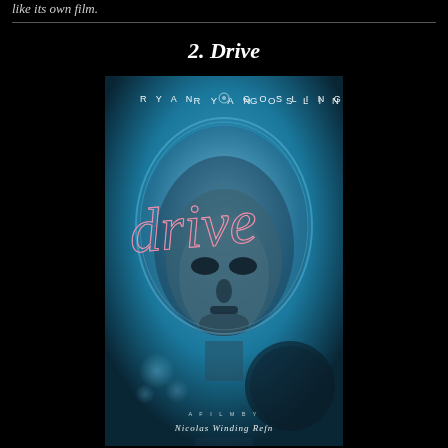like its own film.
2. Drive
[Figure (photo): Movie poster for 'Drive' featuring Ryan Gosling. The poster shows a close-up of a man's face (Ryan Gosling) with a blue tinted light effect. The text 'RYAN GOSLING' appears at the top, 'drive' is written in cursive neon-style lettering across the middle, and 'A FILM BY Nicolas Winding Refn' appears at the bottom.]